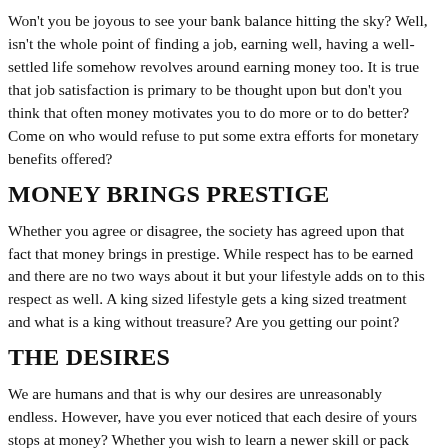Won't you be joyous to see your bank balance hitting the sky? Well, isn't the whole point of finding a job, earning well, having a well-settled life somehow revolves around earning money too. It is true that job satisfaction is primary to be thought upon but don't you think that often money motivates you to do more or to do better? Come on who would refuse to put some extra efforts for monetary benefits offered?
MONEY BRINGS PRESTIGE
Whether you agree or disagree, the society has agreed upon that fact that money brings in prestige. While respect has to be earned and there are no two ways about it but your lifestyle adds on to this respect as well. A king sized lifestyle gets a king sized treatment and what is a king without treasure? Are you getting our point?
THE DESIRES
We are humans and that is why our desires are unreasonably endless. However, have you ever noticed that each desire of yours stops at money? Whether you wish to learn a newer skill or pack your bags for travelling. Everything begins and ends with the amount that your bank balance reads.